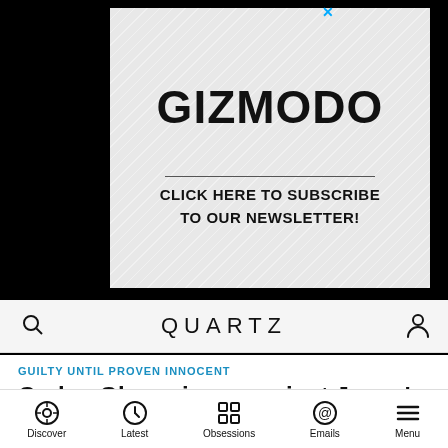[Figure (screenshot): Gizmodo newsletter subscription advertisement with diagonal stripe pattern background, large GIZMODO logo, horizontal divider line, and text CLICK HERE TO SUBSCRIBE TO OUR NEWSLETTER!]
QUARTZ
GUILTY UNTIL PROVEN INNOCENT
Carlos Ghosn is up against Japan's 99.9% conviction rate